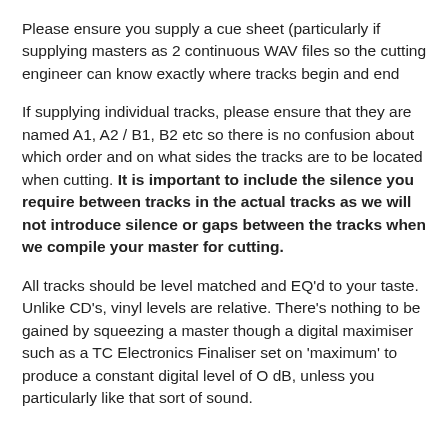Please ensure you supply a cue sheet (particularly if supplying masters as 2 continuous WAV files so the cutting engineer can know exactly where tracks begin and end
If supplying individual tracks, please ensure that they are named A1, A2 / B1, B2 etc so there is no confusion about which order and on what sides the tracks are to be located when cutting. It is important to include the silence you require between tracks in the actual tracks as we will not introduce silence or gaps between the tracks when we compile your master for cutting.
All tracks should be level matched and EQ'd to your taste. Unlike CD's, vinyl levels are relative. There's nothing to be gained by squeezing a master though a digital maximiser such as a TC Electronics Finaliser set on 'maximum' to produce a constant digital level of O dB, unless you particularly like that sort of sound.